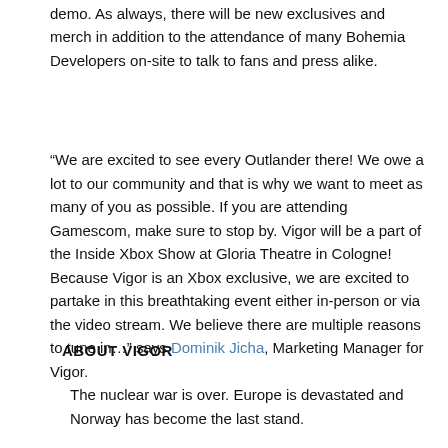demo. As always, there will be new exclusives and merch in addition to the attendance of many Bohemia Developers on-site to talk to fans and press alike.
“We are excited to see every Outlander there! We owe a lot to our community and that is why we want to meet as many of you as possible. If you are attending Gamescom, make sure to stop by. Vigor will be a part of the Inside Xbox Show at Gloria Theatre in Cologne! Because Vigor is an Xbox exclusive, we are excited to partake in this breathtaking event either in-person or via the video stream. We believe there are multiple reasons to tune in…” says Dominik Jicha, Marketing Manager for Vigor.
ABOUT VIGOR
The nuclear war is over. Europe is devastated and Norway has become the last stand.